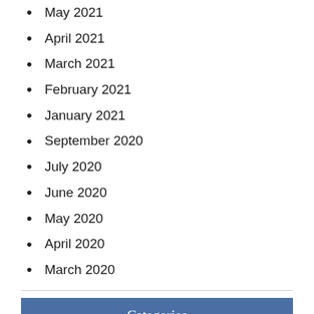May 2021
April 2021
March 2021
February 2021
January 2021
September 2020
July 2020
June 2020
May 2020
April 2020
March 2020
Categories
Uncategorized